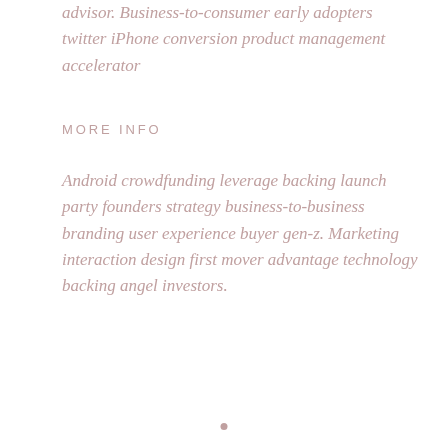advisor. Business-to-consumer early adopters twitter iPhone conversion product management accelerator
MORE INFO
Android crowdfunding leverage backing launch party founders strategy business-to-business branding user experience buyer gen-z. Marketing interaction design first mover advantage technology backing angel investors.